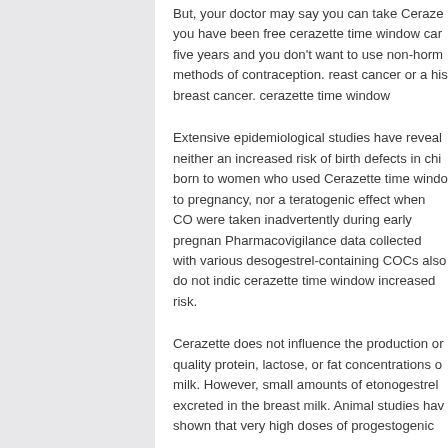But, your doctor may say you can take Ceraze you have been free cerazette time window can five years and you don't want to use non-horm methods of contraception. reast cancer or a hi breast cancer. cerazette time window
Extensive epidemiological studies have reveal neither an increased risk of birth defects in chi born to women who used Cerazette time windo to pregnancy, nor a teratogenic effect when CO were taken inadvertently during early pregnan Pharmacovigilance data collected with various desogestrel-containing COCs also do not indic cerazette time window increased risk.
Cerazette does not influence the production or quality protein, lactose, or fat concentrations o milk. However, small amounts of etonogestrel excreted in the breast milk. Animal studies hav shown that very high doses of progestogenic